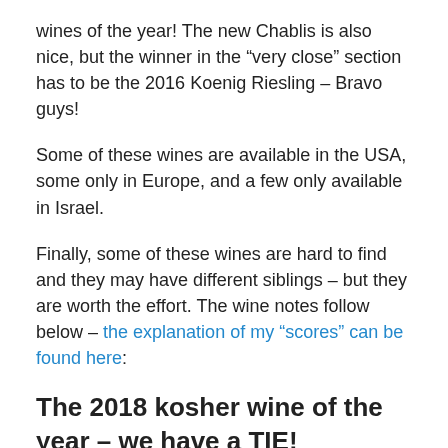wines of the year! The new Chablis is also nice, but the winner in the “very close” section has to be the 2016 Koenig Riesling – Bravo guys!
Some of these wines are available in the USA, some only in Europe, and a few only available in Israel.
Finally, some of these wines are hard to find and they may have different siblings – but they are worth the effort. The wine notes follow below – the explanation of my “scores” can be found here:
The 2018 kosher wine of the year – we have a TIE!
This one was a NOT a no-brainer to me this year. It was